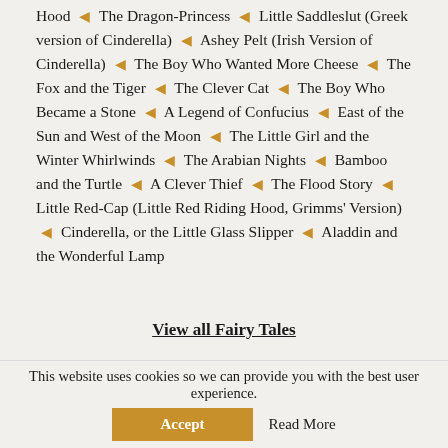Hood ◆ The Dragon-Princess ◆ Little Saddleslut (Greek version of Cinderella) ◆ Ashey Pelt (Irish Version of Cinderella) ◆ The Boy Who Wanted More Cheese ◆ The Fox and the Tiger ◆ The Clever Cat ◆ The Boy Who Became a Stone ◆ A Legend of Confucius ◆ East of the Sun and West of the Moon ◆ The Little Girl and the Winter Whirlwinds ◆ The Arabian Nights ◆ Bamboo and the Turtle ◆ A Clever Thief ◆ The Flood Story ◆ Little Red-Cap (Little Red Riding Hood, Grimms' Version) ◆ Cinderella, or the Little Glass Slipper ◆ Aladdin and the Wonderful Lamp
View all Fairy Tales
This website uses cookies so we can provide you with the best user experience.